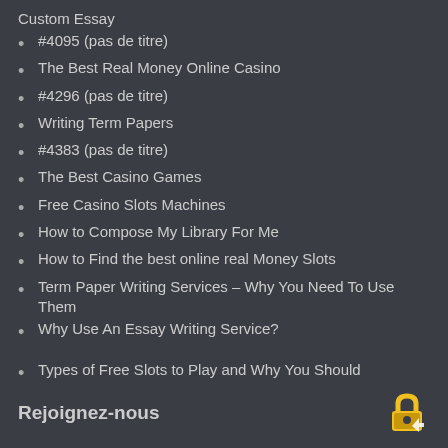Custom Essay
#4095 (pas de titre)
The Best Real Money Online Casino
#4296 (pas de titre)
Writing Term Papers
#4383 (pas de titre)
The Best Casino Games
Free Casino Slots Machines
How to Compose My Library For Me
How to Find the best online real Money Slots
Term Paper Writing Services – Why You Need To Use Them
Why Use An Essay Writing Service?
Types of Free Slots to Play and Why You Should
Rejoignez-nous